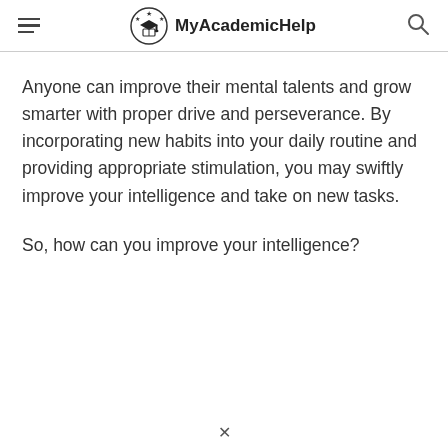MyAcademicHelp
Anyone can improve their mental talents and grow smarter with proper drive and perseverance. By incorporating new habits into your daily routine and providing appropriate stimulation, you may swiftly improve your intelligence and take on new tasks.
So, how can you improve your intelligence?